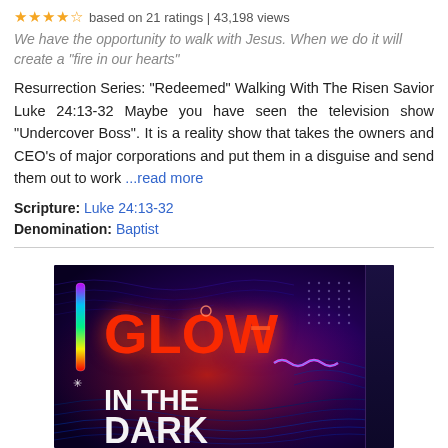based on 21 ratings | 43,198 views
We have the opportunity to walk with Jesus. When we do it will create a "fire in our hearts"
Resurrection Series: “Redeemed” Walking With The Risen Savior Luke 24:13-32 Maybe you have seen the television show “Undercover Boss”. It is a reality show that takes the owners and CEO’s of major corporations and put them in a disguise and send them out to work ...read more
Scripture: Luke 24:13-32
Denomination: Baptist
[Figure (photo): A colorful neon-styled box product for 'Glow In The Dark' with vibrant red glowing text and purple/blue background with swirling wave patterns and a rainbow LED bar element on the left side.]